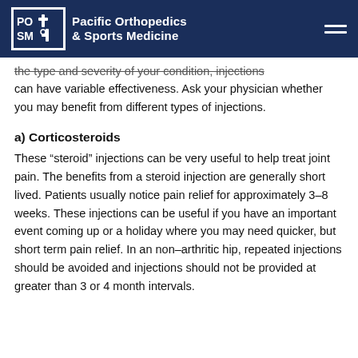Pacific Orthopedics & Sports Medicine
the type and severity of your condition, injections can have variable effectiveness. Ask your physician whether you may benefit from different types of injections.
a) Corticosteroids
These “steroid” injections can be very useful to help treat joint pain. The benefits from a steroid injection are generally short lived. Patients usually notice pain relief for approximately 3–8 weeks. These injections can be useful if you have an important event coming up or a holiday where you may need quicker, but short term pain relief. In an non–arthritic hip, repeated injections should be avoided and injections should not be provided at greater than 3 or 4 month intervals.